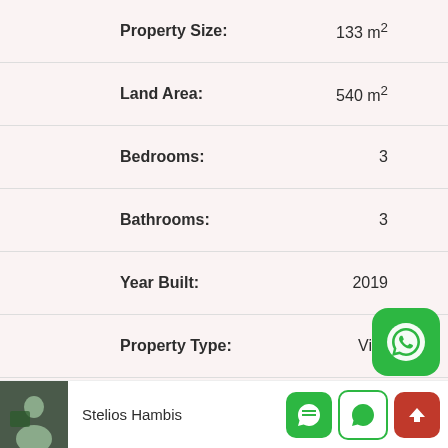Property Size: 133 m²
Land Area: 540 m²
Bedrooms: 3
Bathrooms: 3
Year Built: 2019
Property Type: Villa
Property Status: For Sale, New
Stelios Hambis